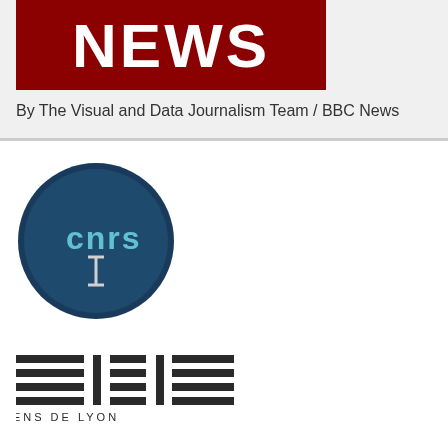[Figure (logo): BBC NEWS logo — white bold text 'NEWS' on dark red/maroon background]
By The Visual and Data Journalism Team / BBC News
[Figure (logo): CNRS logo — circular dark blue/teal background with 'cnrs' text and vertical bar symbol]
[Figure (logo): ENS de Lyon logo — three groups of horizontal lines separated by two vertical lines, with text 'ENS DE LYON' below]